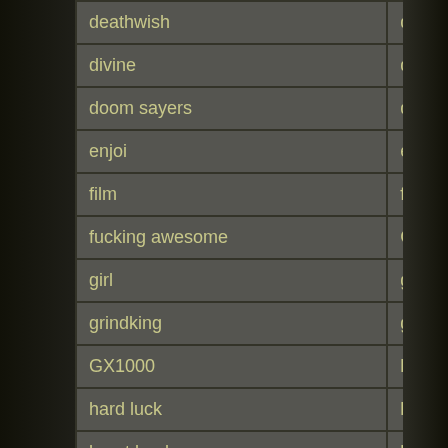| deathwish | dickies |
| divine | dogtown |
| doom sayers | dusters |
| enjoi | etnies |
| film | flip |
| fucking awesome | G&S |
| girl | globe |
| grindking | grizzly |
| GX1000 | habitat |
| hard luck | hawgs |
| heart book | hockey |
| hosoi | independent |
| jessup | khiro |
| krooked | krux |
| landyachtz | limosine |
| loaded | madrid |
| mini logo | mob |